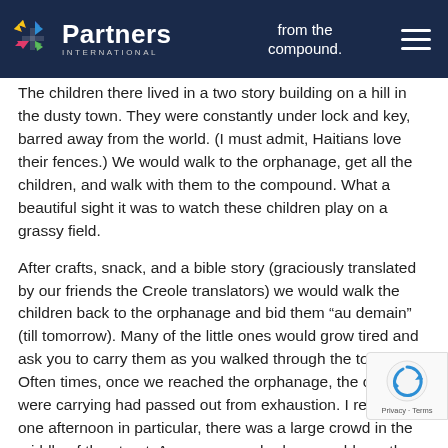Partners International | from the compound.
The children there lived in a two story building on a hill in the dusty town. They were constantly under lock and key, barred away from the world. (I must admit, Haitians love their fences.) We would walk to the orphanage, get all the children, and walk with them to the compound. What a beautiful sight it was to watch these children play on a grassy field.
After crafts, snack, and a bible story (graciously translated by our friends the Creole translators) we would walk the children back to the orphanage and bid them “au demain” (till tomorrow). Many of the little ones would grow tired and ask you to carry them as you walked through the town. Often times, once we reached the orphanage, the child you were carrying had passed out from exhaustion. I remember one afternoon in particular, there was a large crowd in the middle of the street. As we approached, we could see there was a circus of sorts with some acrobatics